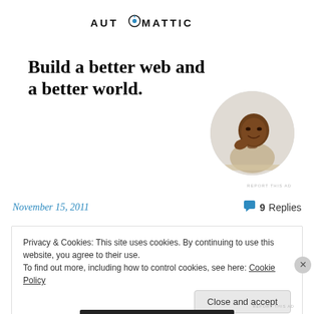[Figure (logo): Automattic logo with compass-style 'O' icon in teal/blue, uppercase spaced lettering]
Build a better web and a better world.
[Figure (photo): Circular photo of a smiling Black man resting his chin on his hand, wearing a beige t-shirt, sitting at a desk]
REPORT THIS AD
November 15, 2011
9 Replies
Privacy & Cookies: This site uses cookies. By continuing to use this website, you agree to their use.
To find out more, including how to control cookies, see here: Cookie Policy